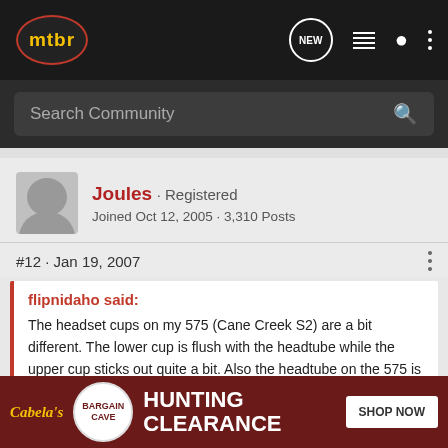mtbr - NEW - navigation icons
Search Community
Joules · Registered
Joined Oct 12, 2005 · 3,310 Posts
#12 · Jan 19, 2007
flipnidaho said:
The headset cups on my 575 (Cane Creek S2) are a bit different. The lower cup is flush with the headtube while the upper cup sticks out quite a bit. Also the headtube on the 575 is flared at the top. The headbadge was good enough for government work... 😀
my fault, yeah the S2 uses a overlapping upper bearing cap to keep ou... hat means) ... d at the
[Figure (screenshot): Cabela's Bargain Cave Hunting Clearance advertisement banner with Shop Now button]